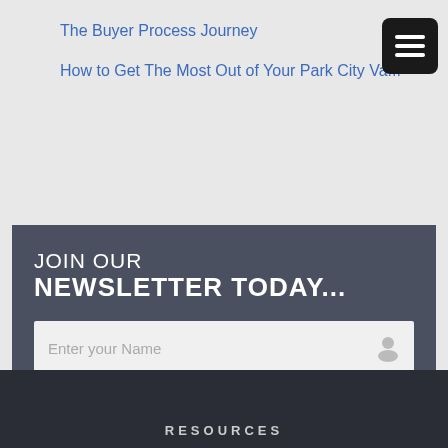The Buyer Process Journey
How to Get The Most Out of Your Park City Va...
JOIN OUR NEWSLETTER TODAY...
Enter your Name
Enter your Email Address
SUBSCRIBE
RESOURCES